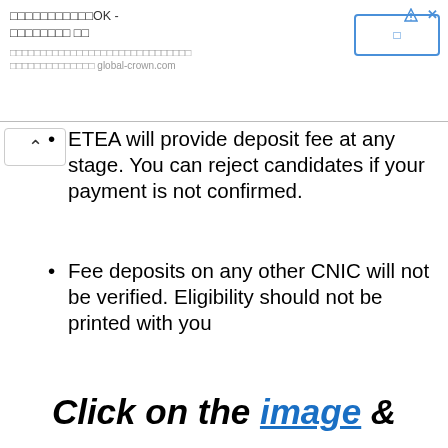[Figure (screenshot): Advertisement banner with Japanese text, title referencing 'OK', a button with Japanese character, and URL 'global-crown.com'. Includes navigation arrow and close X icons.]
ETEA will provide deposit fee at any stage. You can reject candidates if your payment is not confirmed.
Fee deposits on any other CNIC will not be verified. Eligibility should not be printed with you
Those who do not provide the correct information while filling up the online application form and share it with any of them will not only be rejected but will also face severe legal action.
Click on the image &